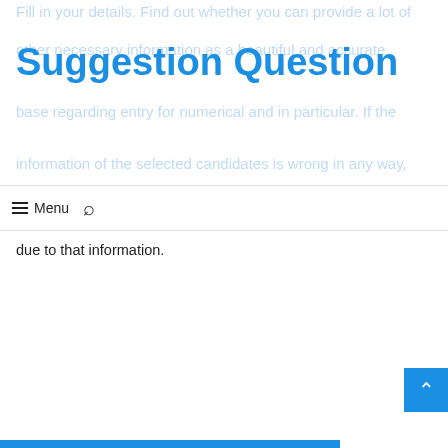Fill in your details. Find out whether you can provide a lot of other necessary information as a beautiful and accurate base regarding entry for numerical and in particular. If the information of the selected candidates is wrong in any way, admission of the selected candidate will be canceled due to that information.
Suggestion Question
Menu
due to that information.